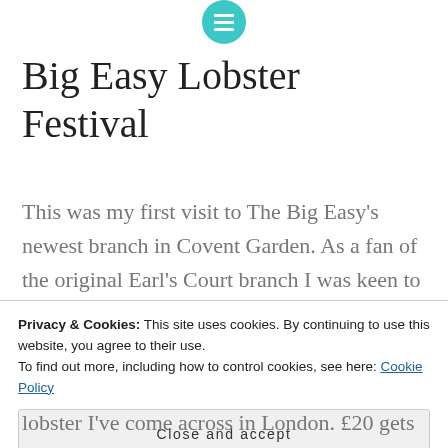[menu icon]
Big Easy Lobster Festival
This was my first visit to The Big Easy's newest branch in Covent Garden. As a fan of the original Earl's Court branch I was keen to see how franchising had affected this American themed eatery. Thankfully the Covent Garden branch maintains most of the good points of the original
Privacy & Cookies: This site uses cookies. By continuing to use this website, you agree to their use.
To find out more, including how to control cookies, see here: Cookie Policy
Close and accept
lobster I've come across in London. £20 gets you a